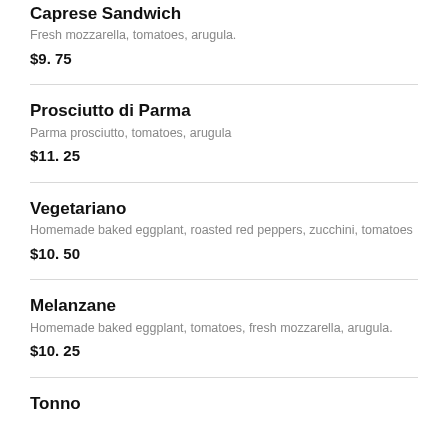Caprese Sandwich
Fresh mozzarella, tomatoes, arugula.
$9. 75
Prosciutto di Parma
Parma prosciutto, tomatoes, arugula
$11. 25
Vegetariano
Homemade baked eggplant, roasted red peppers, zucchini, tomatoes
$10. 50
Melanzane
Homemade baked eggplant, tomatoes, fresh mozzarella, arugula.
$10. 25
Tonno